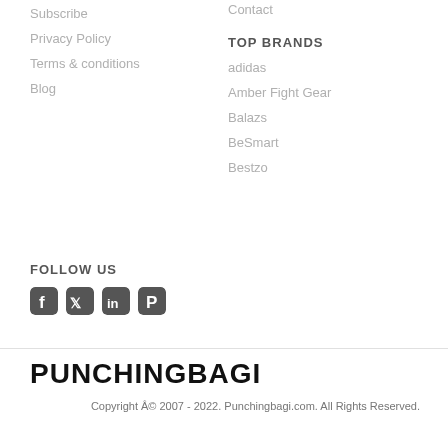Subscribe
Privacy Policy
Terms & conditions
Blog
Contact
TOP BRANDS
adidas
Amber Fight Gear
Balazs
BeSmart
Bestzo
FOLLOW US
[Figure (infographic): Social media icons: Facebook, Twitter, LinkedIn, Pinterest]
PUNCHINGBAGI
Copyright Â© 2007 - 2022. Punchingbagi.com. All Rights Reserved.